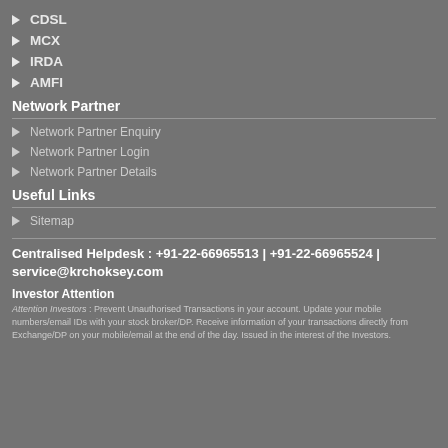CDSL
MCX
IRDA
AMFI
Network Partner
Network Partner Enquiry
Network Partner Login
Network Partner Details
Useful Links
Sitemap
Centralised Helpdesk : +91-22-66965513 | +91-22-66965524 | service@krchoksey.com
Investor Attention
Attention Investors : Prevent Unauthorised Transactions in your account. Update your mobile numbers/email IDs with your stock broker/DP. Receive information of your transactions directly from Exchange/DP on your mobile/email at the end of the day. Issued in the interest of the Investors.